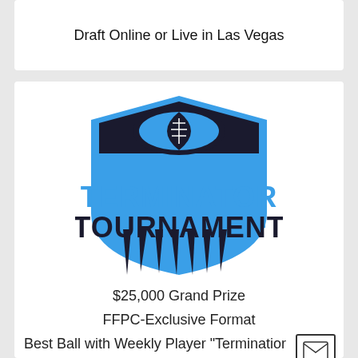Draft Online or Live in Las Vegas
[Figure (logo): Terminator Tournament shield logo with football and blue/black color scheme. Text reads TERMINATOR TOURNAMENT in large bold letters.]
$25,000 Grand Prize
FFPC-Exclusive Format
Best Ball with Weekly Player "Termination"
$350 Entry. Limited to 394 Teams